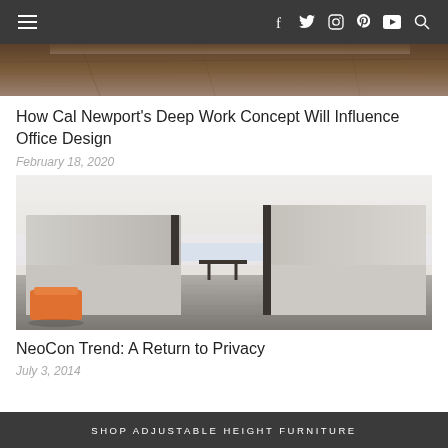navigation bar with hamburger menu and social icons: f (Facebook), Twitter, Instagram, Pinterest, YouTube, Search
[Figure (photo): Top portion of an article image showing a dark wood floor interior, partially cropped at the top]
How Cal Newport's Deep Work Concept Will Influence Office Design
February 18, 2020
[Figure (photo): Office privacy pods - two large light beige rectangular booth enclosures facing each other with a small dark table between them, an orange upholstered stool in the foreground left, on a dark carpet with large windows in the background]
NeoCon Trend: A Return to Privacy
July 3, 2014
SHOP ADJUSTABLE HEIGHT FURNITURE